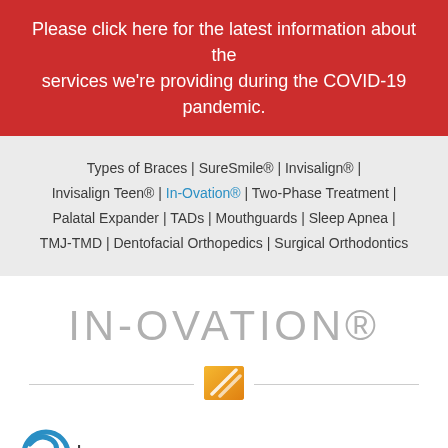Please click here for the latest information about the services we're providing during the COVID-19 pandemic.
Types of Braces | SureSmile® | Invisalign® | Invisalign Teen® | In-Ovation® | Two-Phase Treatment | Palatal Expander | TADs | Mouthguards | Sleep Apnea | TMJ-TMD | Dentofacial Orthopedics | Surgical Orthodontics
IN-OVATION®
[Figure (logo): Orange/yellow square logo icon with white diagonal lines, centered between two horizontal divider lines]
[Figure (logo): Partial In-Ovation brand logo with blue circular wave icon, partially visible at bottom of page]